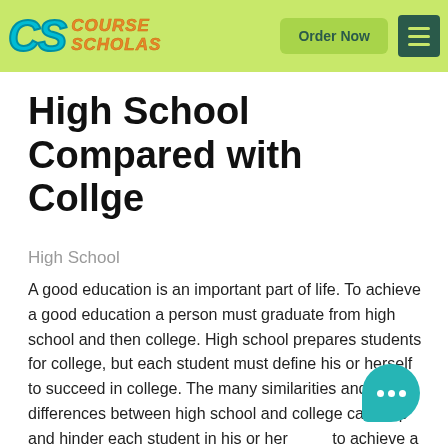Course Scholas — Order Now
High School Compared with Collge
High School
A good education is an important part of life. To achieve a good education a person must graduate from high school and then college. High school prepares students for college, but each student must define his or herself to succeed in college. The many similarities and differences between high school and college can help and hinder each student in his or her to achieve a good education. Some of these similarities differences between high school and college are the type of